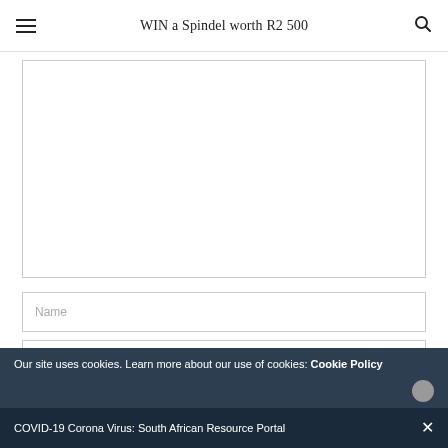WIN a Spindel worth R2 500
[Figure (other): Empty textarea form field with border]
Name
Email
Our site uses cookies. Learn more about our use of cookies: Cookie Policy
COVID-19 Corona Virus: South African Resource Portal